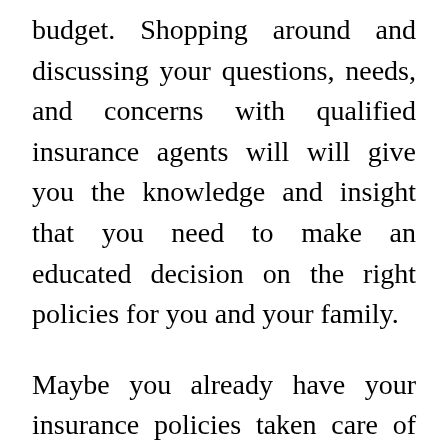budget. Shopping around and discussing your questions, needs, and concerns with qualified insurance agents will will give you the knowledge and insight that you need to make an educated decision on the right policies for you and your family.
Maybe you already have your insurance policies taken care of and you want to help out others, or maybe you just want more of an insider's look into the world of insurance. Companies like Insurance Revenue use your expertise to help spread the word on choice insurance policies, while paying you for your